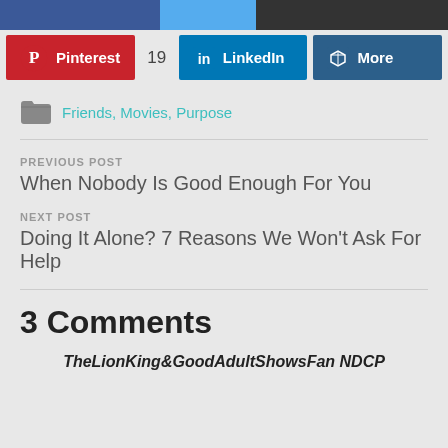[Figure (screenshot): Social share buttons row: Pinterest (red), count 19, LinkedIn (blue), More (dark blue)]
Friends, Movies, Purpose
PREVIOUS POST
When Nobody Is Good Enough For You
NEXT POST
Doing It Alone? 7 Reasons We Won't Ask For Help
3 Comments
TheLionKing&GoodAdultShowsFan NDCP